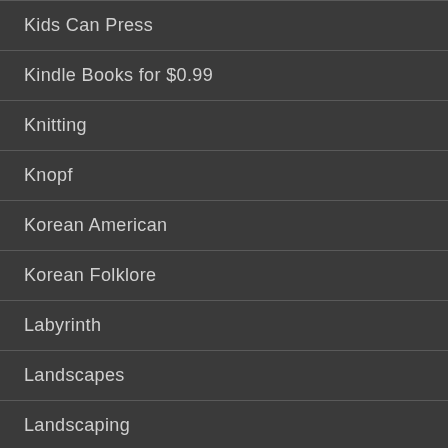Kids Can Press
Kindle Books for $0.99
Knitting
Knopf
Korean American
Korean Folklore
Labyrinth
Landscapes
Landscaping